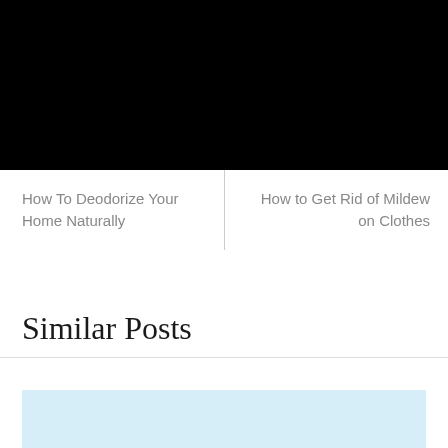[Figure (photo): Black banner image area at top of page]
How To Deodorize Your Home Naturally
How to Get Rid of Mildew on Clothes
Similar Posts
[Figure (photo): Light blue placeholder image block]